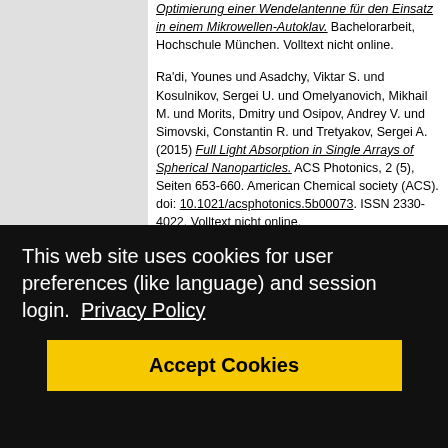Optimierung einer Wendelantenne für den Einsatz in einem Mikrowellen-Autoklav. Bachelorarbeit, Hochschule München. Volltext nicht online.
Ra'di, Younes und Asadchy, Viktar S. und Kosulnikov, Sergei U. und Omelyanovich, Mikhail M. und Morits, Dmitry und Osipov, Andrey V. und Simovski, Constantin R. und Tretyakov, Sergei A. (2015) Full Light Absorption in Single Arrays of Spherical Nanoparticles. ACS Photonics, 2 (5), Seiten 653-660. American Chemical society (ACS). doi: 10.1021/acsphotonics.5b00073. ISSN 2330-4022. Volltext nicht online.
Rocha, Leno S. und Junqueira, C. und Gambin, Ediana und Vicente, Alexandre N. ...
This web site uses cookies for user preferences (like language) and session login.  Privacy Policy
Accept Cookies